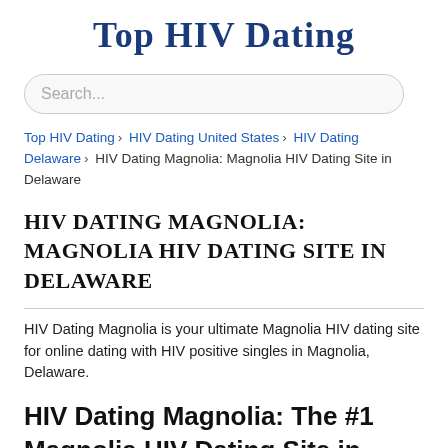Top HIV Dating
Search...
Top HIV Dating › HIV Dating United States › HIV Dating Delaware › HIV Dating Magnolia: Magnolia HIV Dating Site in Delaware
HIV DATING MAGNOLIA: MAGNOLIA HIV DATING SITE IN DELAWARE
HIV Dating Magnolia is your ultimate Magnolia HIV dating site for online dating with HIV positive singles in Magnolia, Delaware.
HIV Dating Magnolia: The #1 Magnolia HIV Dating Site in Delaware